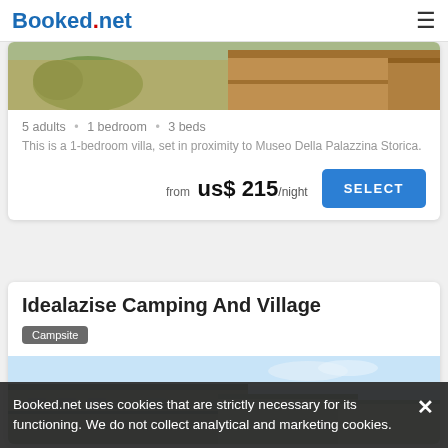Booked.net
5 adults • 1 bedroom • 3 beds
This is a 1-bedroom villa, set in proximity to Museo Della Palazzina Storica.
from us$ 215/night SELECT
Idealazise Camping And Village
Campsite
Booked.net uses cookies that are strictly necessary for its functioning. We do not collect analytical and marketing cookies.